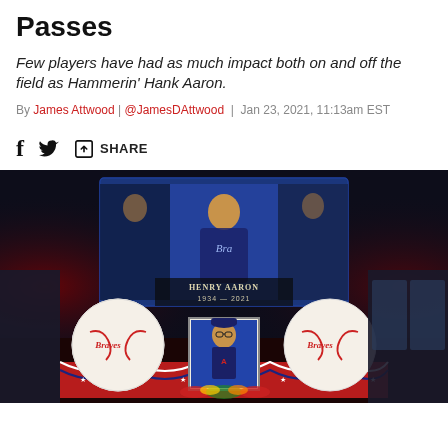Passes
Few players have had as much impact both on and off the field as Hammerin' Hank Aaron.
By James Attwood | @JamesDAttwood | Jan 23, 2021, 11:13am EST
[Figure (other): Share bar with Facebook, Twitter, and share icons]
[Figure (photo): Memorial display for Henry Aaron 1934-2021 at Truist Park with large Braves baseballs and a framed portrait of Hank Aaron surrounded by flowers and patriotic bunting, with a large screen showing a collage of Hank Aaron images.]